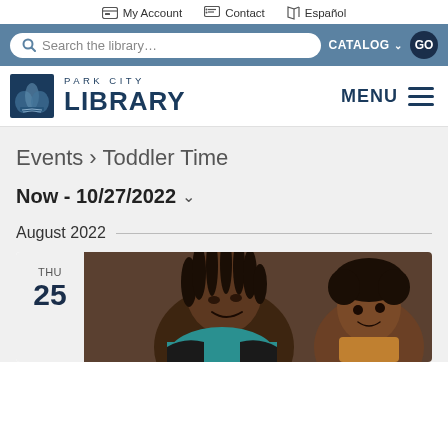My Account  Contact  Español
[Figure (screenshot): Search bar with 'Search the library...' placeholder, CATALOG dropdown and GO button on steelblue background]
[Figure (logo): Park City Library logo with book icon and text 'PARK CITY LIBRARY', plus MENU hamburger on the right]
Events › Toddler Time
Now - 10/27/2022 ˅
August 2022
THU 25
[Figure (photo): Photo of a woman with dreadlocks in a teal shirt smiling down at a young child]